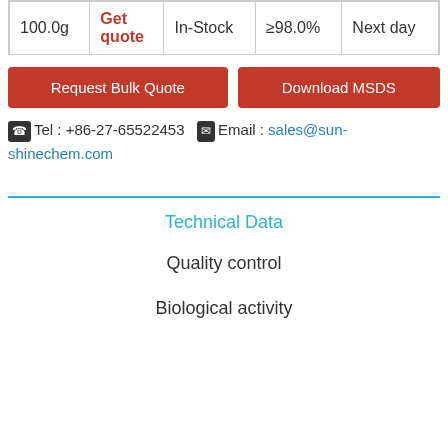| 100.0g | Get quote | In-Stock | ≥98.0% | Next day |
Request Bulk Quote | Download MSDS
☎ Tel : +86-27-65522453   ✉ Email : sales@sun-shinechem.com
Technical Data
Quality control
Biological activity